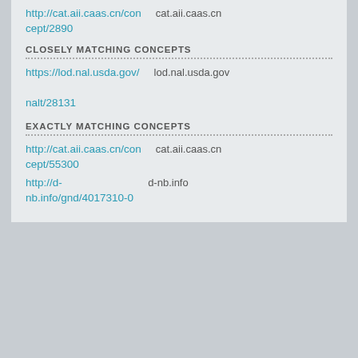http://cat.aii.caas.cn/concept/2890  cat.aii.caas.cn
CLOSELY MATCHING CONCEPTS
https://lod.nal.usda.gov/nalt/28131  lod.nal.usda.gov
EXACTLY MATCHING CONCEPTS
http://cat.aii.caas.cn/concept/55300  cat.aii.caas.cn
http://d-nb.info/gnd/4017310-0  d-nb.info